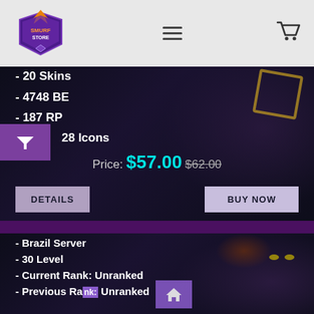[Figure (screenshot): Smurf Store navigation bar with logo, hamburger menu, and cart icon]
- 20 Skins
- 4748 BE
- 187 RP
- 28 Icons
Price: $57.00 $62.00
DETAILS   BUY NOW
- Brazil Server
- 30 Level
- Current Rank: Unranked
- Previous Rank: Unranked